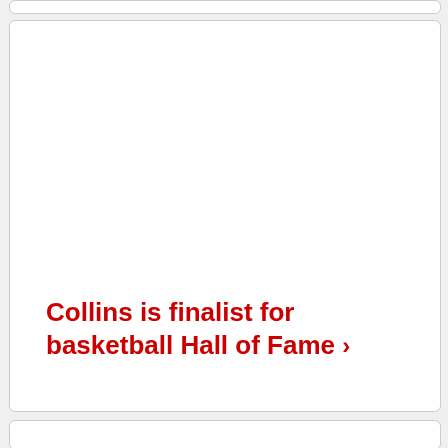Collins is finalist for basketball Hall of Fame ›